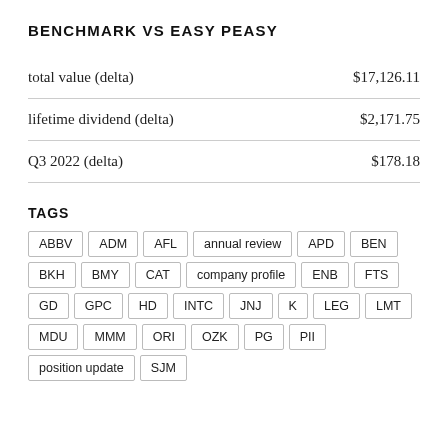BENCHMARK VS EASY PEASY
|  |  |
| --- | --- |
| total value (delta) | $17,126.11 |
| lifetime dividend (delta) | $2,171.75 |
| Q3 2022 (delta) | $178.18 |
TAGS
ABBV
ADM
AFL
annual review
APD
BEN
BKH
BMY
CAT
company profile
ENB
FTS
GD
GPC
HD
INTC
JNJ
K
LEG
LMT
MDU
MMM
ORI
OZK
PG
PII
position update
SJM